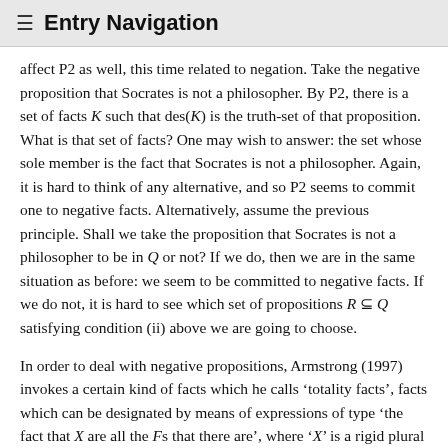≡ Entry Navigation
affect P2 as well, this time related to negation. Take the negative proposition that Socrates is not a philosopher. By P2, there is a set of facts K such that des(K) is the truth-set of that proposition. What is that set of facts? One may wish to answer: the set whose sole member is the fact that Socrates is not a philosopher. Again, it is hard to think of any alternative, and so P2 seems to commit one to negative facts. Alternatively, assume the previous principle. Shall we take the proposition that Socrates is not a philosopher to be in Q or not? If we do, then we are in the same situation as before: we seem to be committed to negative facts. If we do not, it is hard to see which set of propositions R ⊆ Q satisfying condition (ii) above we are going to choose.
In order to deal with negative propositions, Armstrong (1997) invokes a certain kind of facts which he calls 'totality facts', facts which can be designated by means of expressions of type 'the fact that X are all the Fs that there are', where 'X' is a rigid plural designator and 'F' a